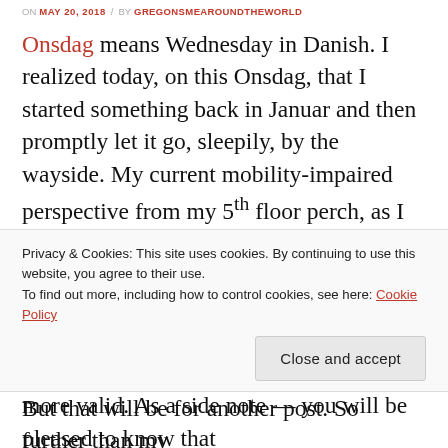ON MAY 20, 2018 / BY GREGSONSMEAROUNDTHEWORLD
Onsdag means Wednesday in Danish. I realized today, on this Onsdag, that I started something back in Januar and then promptly let it go, sleepily, by the wayside. My current mobility-impaired perspective from my 5th floor perch, as I sit here elevating my broken ankle and watching the epic Danish clouds float by, promotes a resurrection of my original Wednesday wanderings post. Maybe my lack of mobility makes virtual escapes more valid. As a side note — you will be pleased to know that
Privacy & Cookies: This site uses cookies. By continuing to use this website, you agree to their use.
To find out more, including how to control cookies, see here: Cookie Policy
Close and accept
But that will be for another post. So further than my